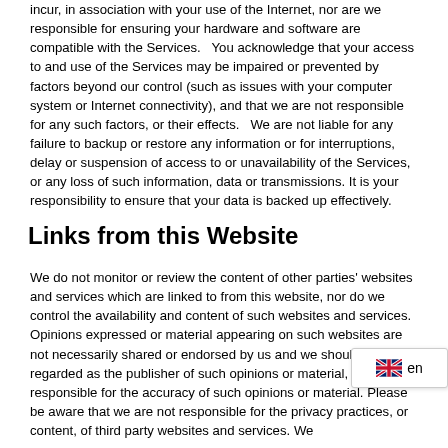incur, in association with your use of the Internet, nor are we responsible for ensuring your hardware and software are compatible with the Services.   You acknowledge that your access to and use of the Services may be impaired or prevented by factors beyond our control (such as issues with your computer system or Internet connectivity), and that we are not responsible for any such factors, or their effects.   We are not liable for any failure to backup or restore any information or for interruptions, delay or suspension of access to or unavailability of the Services, or any loss of such information, data or transmissions. It is your responsibility to ensure that your data is backed up effectively.
Links from this Website
We do not monitor or review the content of other parties' websites and services which are linked to from this website, nor do we control the availability and content of such websites and services. Opinions expressed or material appearing on such websites are not necessarily shared or endorsed by us and we should not be regarded as the publisher of such opinions or material, nor are we responsible for the accuracy of such opinions or material. Please be aware that we are not responsible for the privacy practices, or content, of third party websites and services. We